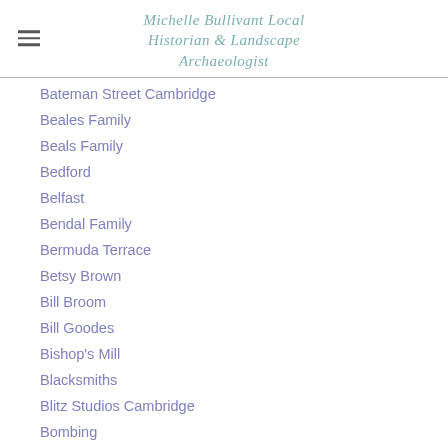Michelle Bullivant Local Historian & Landscape Archaeologist
Bateman Street Cambridge
Beales Family
Beals Family
Bedford
Belfast
Bendal Family
Bermuda Terrace
Betsy Brown
Bill Broom
Bill Goodes
Bishop's Mill
Blacksmiths
Blitz Studios Cambridge
Bombing
Bombing In Cambridge
Bombing In Linton
Bootmaker